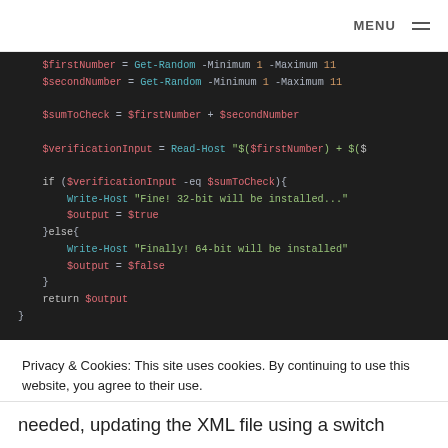MENU
[Figure (screenshot): Dark-themed code editor showing PowerShell script with variable assignments, arithmetic, Read-Host prompt, if/else conditional blocks with Write-Host and $output assignments, and a return statement.]
Privacy & Cookies: This site uses cookies. By continuing to use this website, you agree to their use.
To find out more, including how to control cookies, see here: Cookie Policy
Close and accept
needed, updating the XML file using a switch